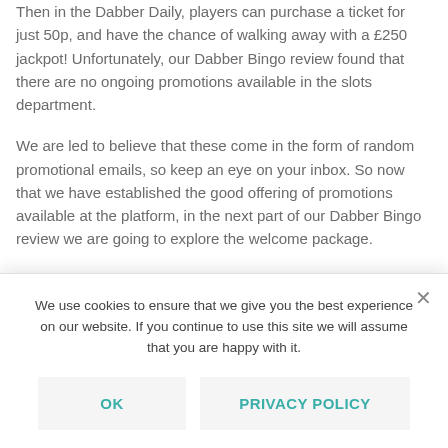Then in the Dabber Daily, players can purchase a ticket for just 50p, and have the chance of walking away with a £250 jackpot! Unfortunately, our Dabber Bingo review found that there are no ongoing promotions available in the slots department.
We are led to believe that these come in the form of random promotional emails, so keep an eye on your inbox. So now that we have established the good offering of promotions available at the platform, in the next part of our Dabber Bingo review we are going to explore the welcome package.
Dabber Bingo Bonus For
We use cookies to ensure that we give you the best experience on our website. If you continue to use this site we will assume that you are happy with it.